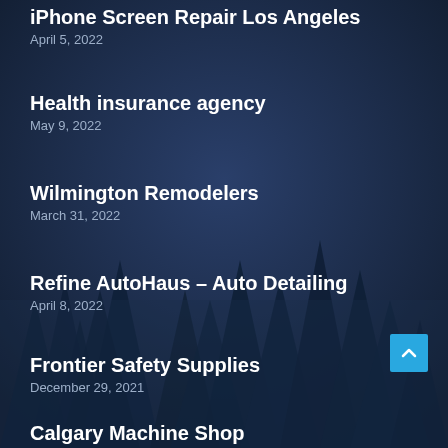iPhone Screen Repair Los Angeles
April 5, 2022
Health insurance agency
May 9, 2022
Wilmington Remodelers
March 31, 2022
Refine AutoHaus – Auto Detailing
April 8, 2022
Frontier Safety Supplies
December 29, 2021
Calgary Machine Shop